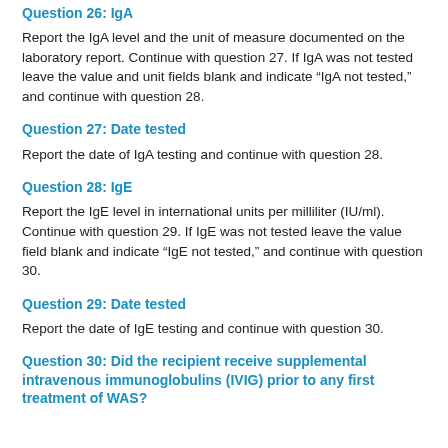Question 26: IgA
Report the IgA level and the unit of measure documented on the laboratory report. Continue with question 27. If IgA was not tested leave the value and unit fields blank and indicate “IgA not tested,” and continue with question 28.
Question 27: Date tested
Report the date of IgA testing and continue with question 28.
Question 28: IgE
Report the IgE level in international units per milliliter (IU/ml). Continue with question 29. If IgE was not tested leave the value field blank and indicate “IgE not tested,” and continue with question 30.
Question 29: Date tested
Report the date of IgE testing and continue with question 30.
Question 30: Did the recipient receive supplemental intravenous immunoglobulins (IVIG) prior to any first treatment of WAS?